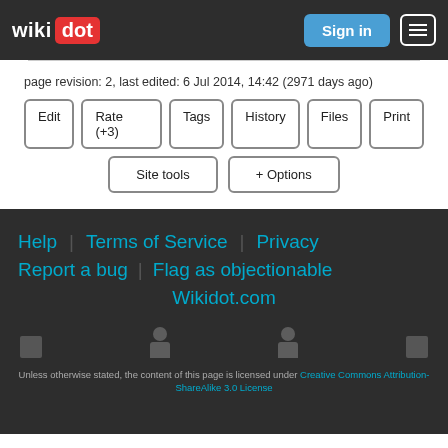wikidot | Sign in | Menu
page revision: 2, last edited: 6 Jul 2014, 14:42 (2971 days ago)
Edit | Rate (+3) | Tags | History | Files | Print
Site tools | + Options
Help | Terms of Service | Privacy | Report a bug | Flag as objectionable | Wikidot.com
Unless otherwise stated, the content of this page is licensed under Creative Commons Attribution-ShareAlike 3.0 License